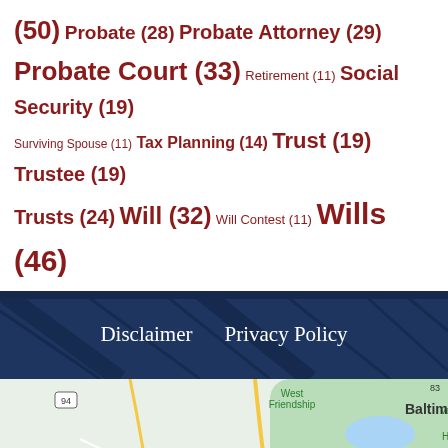(50) Probate (28) Probate Attorney (29) Probate Court (33) Retirement (11) Social Security (19) Surviving Spouse (11) Tax Planning (14) Trust (19) Trustee (19) Trusts (24) Will (32) Will Contest (11) Wills (46)
[Figure (screenshot): Dark navy blue background with diagonal line pattern showing Disclaimer and Privacy Policy links in white serif text]
[Figure (map): Google Maps screenshot showing Baltimore metro area including West Friendship, Patapsco Valley State Park Hollofield, Baltimore, Clarksville, Columbia, Hanover, Glen Burnie, Brookeville, Olney with highway markers 94, 650, 97, 29, 100, 695, 895, 195, 95, 32]